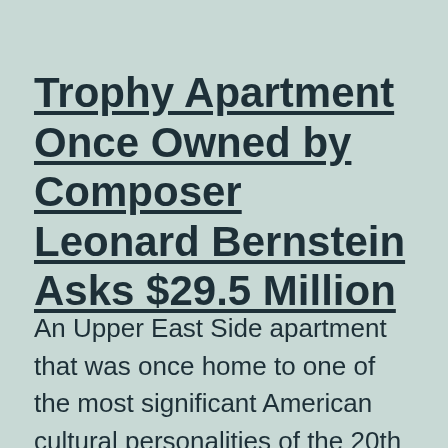Trophy Apartment Once Owned by Composer Leonard Bernstein Asks $29.5 Million
An Upper East Side apartment that was once home to one of the most significant American cultural personalities of the 20th century has recently hit the market. The Art Deco masterpiece at 895 Park Avenue was